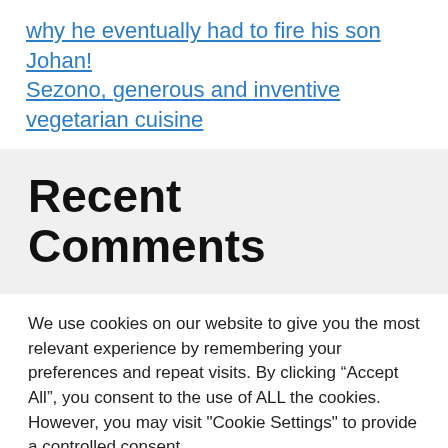why he eventually had to fire his son Johan! Sezono, generous and inventive vegetarian cuisine
Recent Comments
We use cookies on our website to give you the most relevant experience by remembering your preferences and repeat visits. By clicking “Accept All”, you consent to the use of ALL the cookies. However, you may visit "Cookie Settings" to provide a controlled consent.
Cookie Settings | Accept All